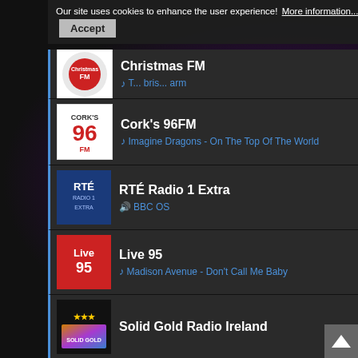Our site uses cookies to enhance the user experience! More information... Accept
Christmas FM - The Christmas Alarm
Cork's 96FM - Imagine Dragons - On The Top Of The World
RTÉ Radio 1 Extra - BBC OS
Live 95 - Madison Avenue - Don't Call Me Baby
Solid Gold Radio Ireland
Global Irish Radio - Folk & Country - Global Irish Radio
South East Radio - Drivetime with Phil Cawley